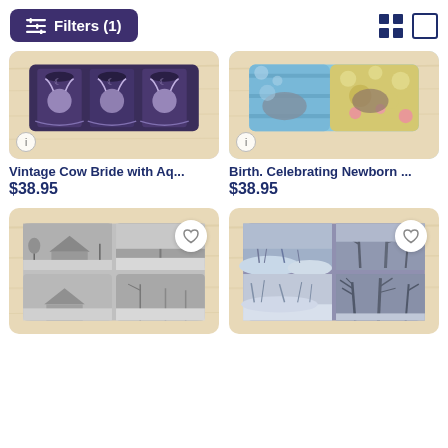Filters (1)
[Figure (photo): Product image: Vintage Cow Bride with Aqua... cutting board, purple tones with cow character pattern]
Vintage Cow Bride with Aq...
$38.95
[Figure (photo): Product image: Birth. Celebrating Newborn... cutting board, colorful with fish and floral pattern]
Birth. Celebrating Newborn ...
$38.95
[Figure (photo): Product image: Winter landscape cutting board, black and white scenes]
[Figure (photo): Product image: Winter trees cutting board, blue-grey snowy tree scenes]